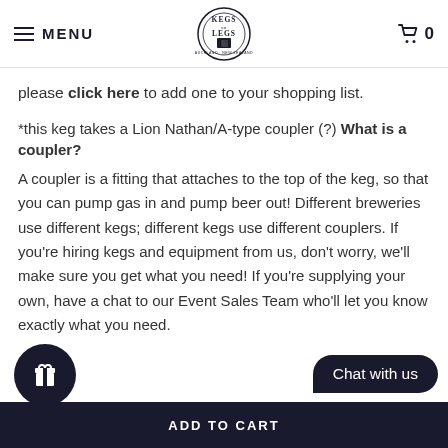MENU | KEGS ON LEGS | 0
please click here to add one to your shopping list.
*this keg takes a Lion Nathan/A-type coupler (?) What is a coupler?
A coupler is a fitting that attaches to the top of the keg, so that you can pump gas in and pump beer out! Different breweries use different kegs; different kegs use different couplers. If you're hiring kegs and equipment from us, don't worry, we'll make sure you get what you need! If you're supplying your own, have a chat to our Event Sales Team who'll let you know exactly what you need.
[Figure (other): Gift icon circle button and Chat with us button, plus ADD TO CART dark bar at bottom]